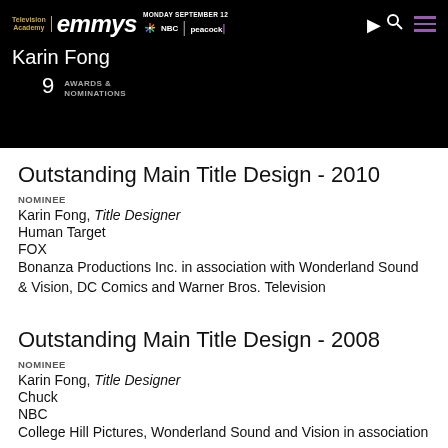Television Academy emmys | MONDAY SEPTEMBER 12 NBC | peacock
Karin Fong
9 AWARDS & NOMINATIONS
Outstanding Main Title Design - 2010
NOMINEE
Karin Fong, Title Designer
Human Target
FOX
Bonanza Productions Inc. in association with Wonderland Sound & Vision, DC Comics and Warner Bros. Television
Outstanding Main Title Design - 2008
NOMINEE
Karin Fong, Title Designer
Chuck
NBC
College Hill Pictures, Wonderland Sound and Vision in association